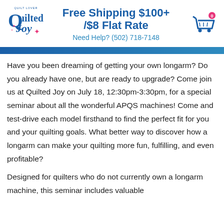[Figure (logo): Quilted Joy quilt shop logo with stylized text and fairy figure in blue and pink]
Free Shipping $100+ /$8 Flat Rate
Need Help? (502) 718-7148
[Figure (illustration): Shopping cart icon with 0 badge in blue]
Have you been dreaming of getting your own longarm?  Do you already have one, but are ready to upgrade?  Come join us at Quilted Joy on July 18, 12:30pm-3:30pm, for a special seminar about all the wonderful APQS machines!  Come and test-drive each model firsthand to find the perfect fit for you and your quilting goals.  What better way to discover how a longarm can make your quilting more fun, fulfilling, and even profitable?
Designed for quilters who do not currently own a longarm machine, this seminar includes valuable